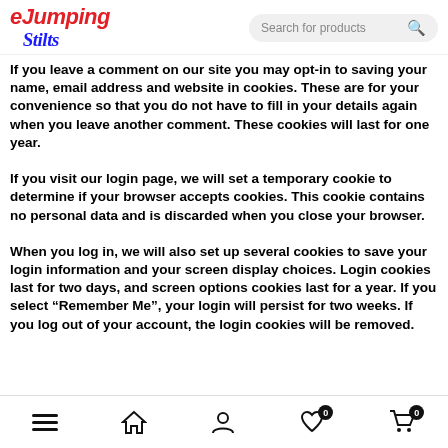eJumping Stilts — Search for products
If you leave a comment on our site you may opt-in to saving your name, email address and website in cookies. These are for your convenience so that you do not have to fill in your details again when you leave another comment. These cookies will last for one year.
If you visit our login page, we will set a temporary cookie to determine if your browser accepts cookies. This cookie contains no personal data and is discarded when you close your browser.
When you log in, we will also set up several cookies to save your login information and your screen display choices. Login cookies last for two days, and screen options cookies last for a year. If you select “Remember Me”, your login will persist for two weeks. If you log out of your account, the login cookies will be removed.
Navigation footer: menu, home, account, wishlist (0), cart (0)